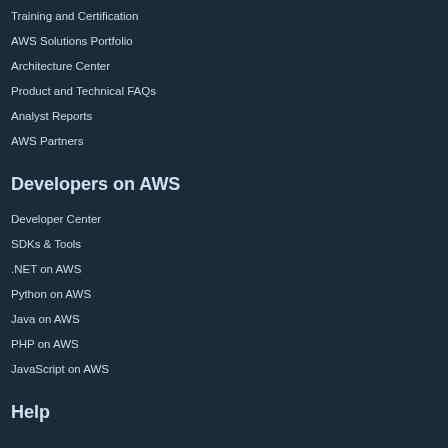Training and Certification
AWS Solutions Portfolio
Architecture Center
Product and Technical FAQs
Analyst Reports
AWS Partners
Developers on AWS
Developer Center
SDKs & Tools
.NET on AWS
Python on AWS
Java on AWS
PHP on AWS
JavaScript on AWS
Help